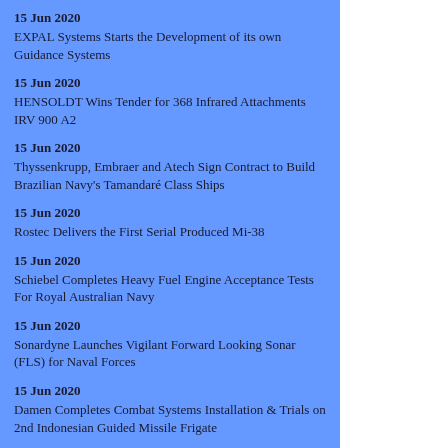15 Jun 2020
EXPAL Systems Starts the Development of its own Guidance Systems
15 Jun 2020
HENSOLDT Wins Tender for 368 Infrared Attachments IRV 900 A2
15 Jun 2020
Thyssenkrupp, Embraer and Atech Sign Contract to Build Brazilian Navy's Tamandaré Class Ships
15 Jun 2020
Rostec Delivers the First Serial Produced Mi-38
15 Jun 2020
Schiebel Completes Heavy Fuel Engine Acceptance Tests For Royal Australian Navy
15 Jun 2020
Sonardyne Launches Vigilant Forward Looking Sonar (FLS) for Naval Forces
15 Jun 2020
Damen Completes Combat Systems Installation & Trials on 2nd Indonesian Guided Missile Frigate
15 Jun 2020
KMW, Nexter and Rheinmetall Get the Go-Ahead for Initial MGCS Architecture Study